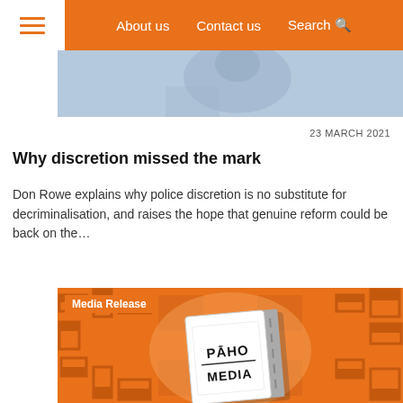About us   Contact us   Search
[Figure (photo): Partial photo of a person visible at top of page]
23 MARCH 2021
Why discretion missed the mark
Don Rowe explains why police discretion is no substitute for decriminalisation, and raises the hope that genuine reform could be back on the...
[Figure (illustration): Media Release illustration showing a press pass card reading PĀHO MEDIA on an orange maze-patterned background with a Media Release label in the top left corner]